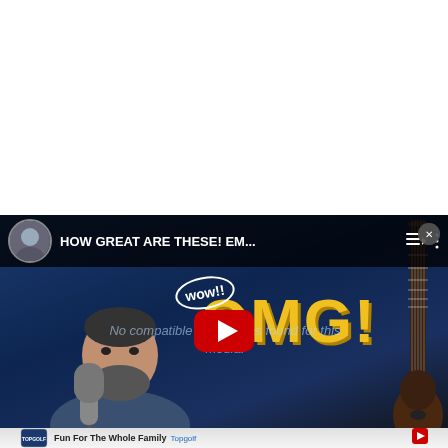[Figure (screenshot): YouTube video thumbnail/player showing a man with a beard in front of a microphone, with 'OMG!' text in yellow on a blue background. Title bar reads 'HOW GREAT ARE THESE! EM...' with channel avatar. A play button is visible. Watermark text says 'No compatible source was found for this media.']
[Figure (screenshot): Advertisement banner for Topgolf showing 'Fun For The Whole Family' with the Topgolf logo and a navigation arrow icon, partially visible at bottom.]